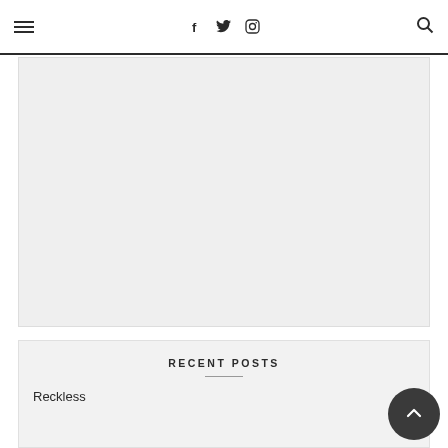≡  f  𝕏  ⊡  🔍
[Figure (other): Light gray advertisement or content placeholder block]
RECENT POSTS
Reckless